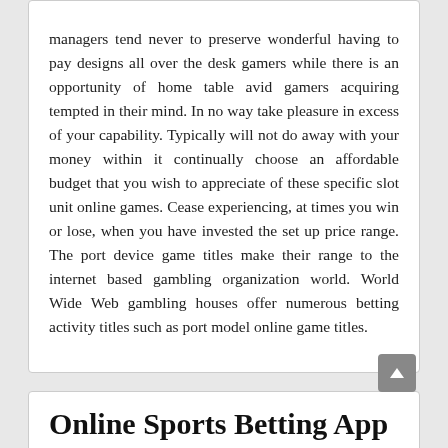managers tend never to preserve wonderful having to pay designs all over the desk gamers while there is an opportunity of home table avid gamers acquiring tempted in their mind. In no way take pleasure in excess of your capability. Typically will not do away with your money within it continually choose an affordable budget that you wish to appreciate of these specific slot unit online games. Cease experiencing, at times you win or lose, when you have invested the set up price range. The port device game titles make their range to the internet based gambling organization world. World Wide Web gambling houses offer numerous betting activity titles such as port model online game titles.
Online Sports Betting App for Getting Unlimited